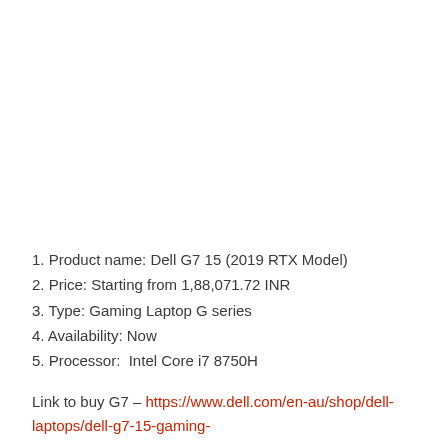1. Product name: Dell G7 15 (2019 RTX Model)
2. Price: Starting from 1,88,071.72 INR
3. Type: Gaming Laptop G series
4. Availability: Now
5. Processor:  Intel Core i7 8750H
Link to buy G7 – https://www.dell.com/en-au/shop/dell-laptops/dell-g7-15-gaming-